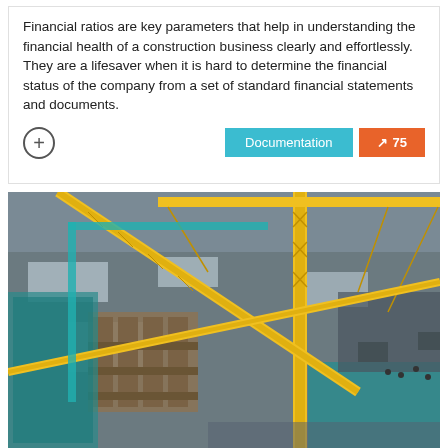Financial ratios are key parameters that help in understanding the financial health of a construction business clearly and effortlessly. They are a lifesaver when it is hard to determine the financial status of the company from a set of standard financial statements and documents.
[Figure (photo): Aerial/overhead view of a large construction site with multiple yellow tower cranes, partially built concrete structures, construction equipment, and workers visible from above during winter conditions.]